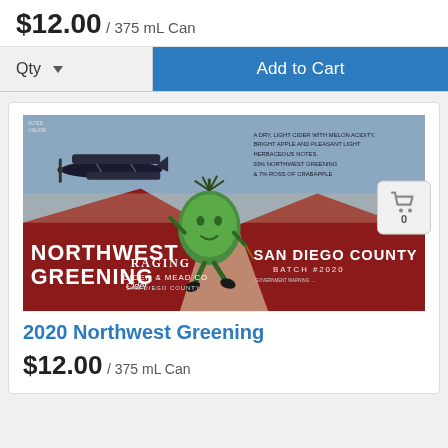$12.00 / 375 mL Can
Qty  Add to Cart
[Figure (illustration): Product label for 2020 Northwest Greening Cider by Raging Cider & Mead Co, San Diego County. Label shows a biplane, a cartoon apple character running across red hills, with text 'NORTHWEST GREENING Cider', 'SAN DIEGO COUNTY', 'BATCH #2020', 'RAGING CIDER & MEAD CO'. Background is red and tan/blue sky.]
2020 Northwest Greening
$12.00 / 375 mL Can